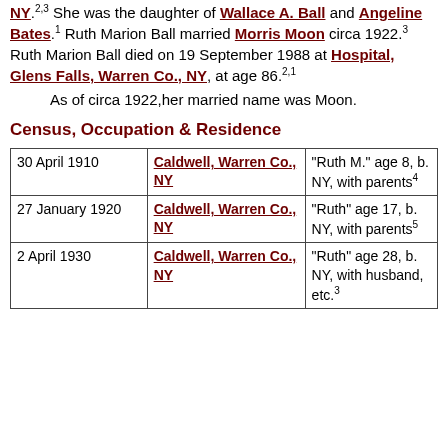NY.2,3 She was the daughter of Wallace A. Ball and Angeline Bates.1 Ruth Marion Ball married Morris Moon circa 1922.3 Ruth Marion Ball died on 19 September 1988 at Hospital, Glens Falls, Warren Co., NY, at age 86.2,1
As of circa 1922, her married name was Moon.
Census, Occupation & Residence
| Date | Location | Details |
| --- | --- | --- |
| 30 April 1910 | Caldwell, Warren Co., NY | "Ruth M." age 8, b. NY, with parents4 |
| 27 January 1920 | Caldwell, Warren Co., NY | "Ruth" age 17, b. NY, with parents5 |
| 2 April 1930 | Caldwell, Warren Co., NY | "Ruth" age 28, b. NY, with husband, etc.3 |